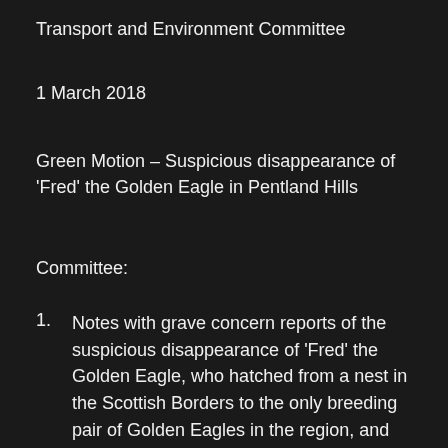Transport and Environment Committee
1 March 2018
Green Motion – Suspicious disappearance of 'Fred' the Golden Eagle in Pentland Hills
Committee:
Notes with grave concern reports of the suspicious disappearance of 'Fred' the Golden Eagle, who hatched from a nest in the Scottish Borders to the only breeding pair of Golden Eagles in the region, and who, according to his satellite tag, was in woodland near Currie in January 2018, within